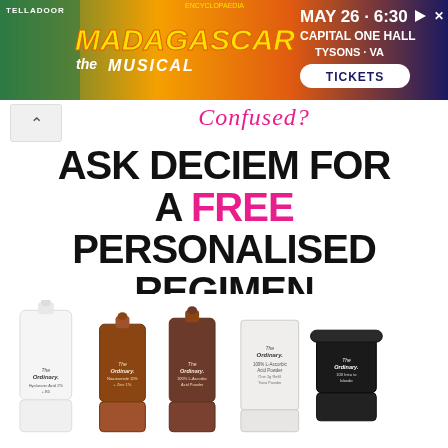[Figure (screenshot): Advertisement banner for Madagascar The Musical at Capital One Hall, Tysons VA, May 26 6:30, with tickets button]
Confused?
ASK DECIEM FOR A FREE PERSONALISED REGIMEN
[Figure (photo): Five The Ordinary skincare product bottles and jars displayed on white background]